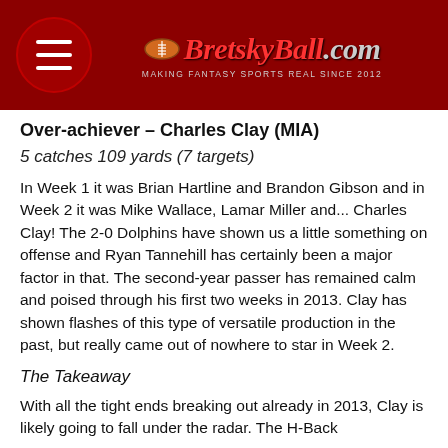BretskyBall.com — MAKING FANTASY SPORTS REAL SINCE 2012
Over-achiever – Charles Clay (MIA)
5 catches 109 yards (7 targets)
In Week 1 it was Brian Hartline and Brandon Gibson and in Week 2 it was Mike Wallace, Lamar Miller and... Charles Clay! The 2-0 Dolphins have shown us a little something on offense and Ryan Tannehill has certainly been a major factor in that. The second-year passer has remained calm and poised through his first two weeks in 2013. Clay has shown flashes of this type of versatile production in the past, but really came out of nowhere to star in Week 2.
The Takeaway
With all the tight ends breaking out already in 2013, Clay is likely going to fall under the radar. The H-Back